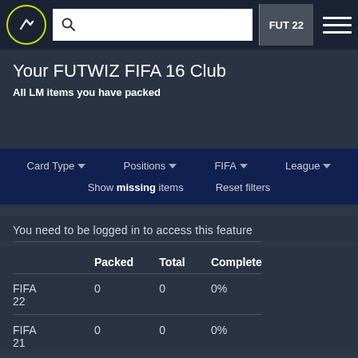FUTWIZ FUT 22
Your FUTWIZ FIFA 16 Club
All LM items you have packed
Card Type   Positions   FIFA   League
Show missing items   Reset filters
You need to be logged in to access this feature
|  | Packed | Total | Complete |
| --- | --- | --- | --- |
| FIFA 22 | 0 | 0 | 0% |
| FIFA 21 | 0 | 0 | 0% |